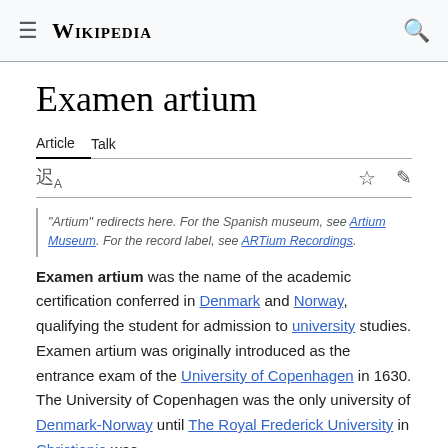Wikipedia
Examen artium
Article  Talk
"Artium" redirects here. For the Spanish museum, see Artium Museum. For the record label, see ARTium Recordings.
Examen artium was the name of the academic certification conferred in Denmark and Norway, qualifying the student for admission to university studies. Examen artium was originally introduced as the entrance exam of the University of Copenhagen in 1630. The University of Copenhagen was the only university of Denmark-Norway until The Royal Frederick University in Christiania was